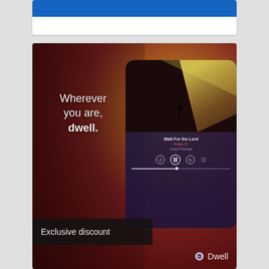[Figure (other): Blue banner bar at top of a white card]
[Figure (illustration): Dwell app advertisement showing a hand holding a smartphone with audio player UI, text 'Wherever you are, dwell.' on dark red/maroon gradient background, 'Exclusive discount' banner at bottom left, Dwell logo at bottom right]